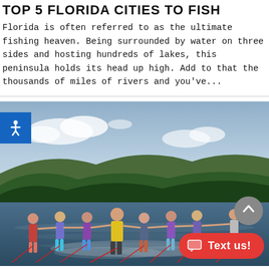TOP 5 FLORIDA CITIES TO FISH
Florida is often referred to as the ultimate fishing heaven. Being surrounded by water on three sides and hosting hundreds of lakes, this peninsula holds its head up high. Add to that the thousands of miles of rivers and you've...
[Figure (photo): Group of children and adults water skiing together on a lake, holding hands in a line, with forested hills and cloudy sky in background. Accessibility button top-left, scroll-to-top button and Text us button in bottom-right.]